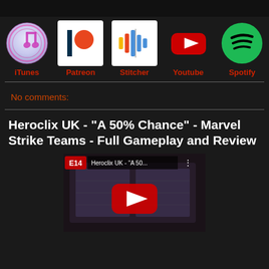[Figure (screenshot): Top black bar strip]
[Figure (infographic): Row of 5 podcast/media platform icons: iTunes, Patreon, Stitcher, Youtube, Spotify with labels below each]
No comments:
Heroclix UK - "A 50% Chance" - Marvel Strike Teams - Full Gameplay and Review
[Figure (screenshot): YouTube video thumbnail showing E14 Heroclix UK - A 50... with board game gameplay image and YouTube play button overlay]